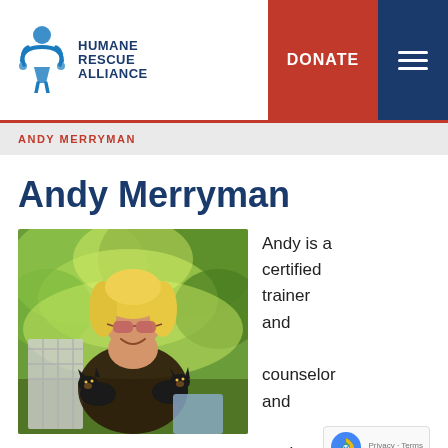[Figure (logo): Humane Rescue Alliance logo with icon and text, DONATE button, and hamburger menu]
ANDY MERRYMAN
Andy Merryman
[Figure (photo): Woman with blonde hair and sunglasses smiling and holding two small black dogs, seated outdoors with green foliage in background]
Andy is a certified trainer and counselor and worker